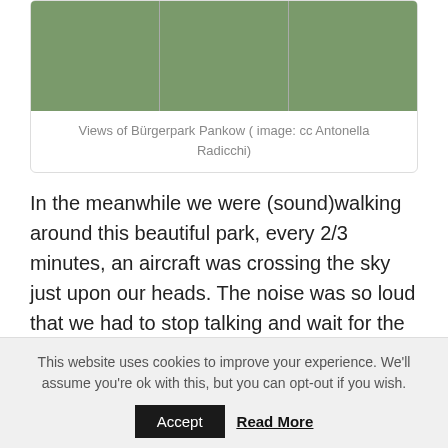[Figure (photo): Three side-by-side park photos showing views of Bürgerpark Pankow – a stream/canal with trees, a tree-lined path, and a garden pavilion/rotunda]
Views of Bürgerpark Pankow ( image: cc Antonella Radicchi)
In the meanwhile we were (sound)walking around this beautiful park, every 2/3 minutes, an aircraft was crossing the sky just upon our heads. The noise was so loud that we had to stop talking and wait for the aircraft passed by, before continuing our conversation. What a perfect oasis of quietness! I really could not understand why and how the journalists referred to it as the ideal heaven of
This website uses cookies to improve your experience. We'll assume you're ok with this, but you can opt-out if you wish.
Accept   Read More